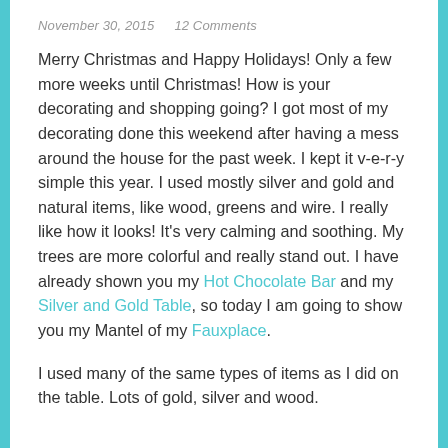November 30, 2015    12 Comments
Merry Christmas and Happy Holidays! Only a few more weeks until Christmas! How is your decorating and shopping going? I got most of my decorating done this weekend after having a mess around the house for the past week. I kept it v-e-r-y simple this year. I used mostly silver and gold and natural items, like wood, greens and wire. I really like how it looks! It’s very calming and soothing. My trees are more colorful and really stand out. I have already shown you my Hot Chocolate Bar and my Silver and Gold Table, so today I am going to show you my Mantel of my Fauxplace.
I used many of the same types of items as I did on the table. Lots of gold, silver and wood.